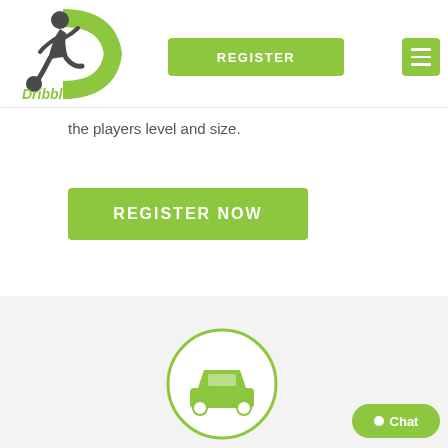[Figure (logo): Dribbler logo: soccer player silhouette with a green D and text 'Dribbler']
REGISTER
[Figure (other): Hamburger menu icon (three horizontal lines) on green background]
the players level and size.
REGISTER NOW
[Figure (other): Gray section with a car icon inside a green-outlined circle]
Chat